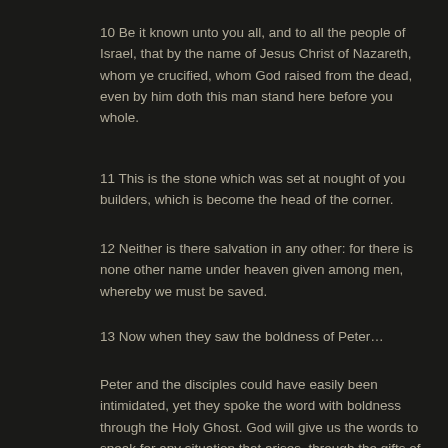10 Be it known unto you all, and to all the people of Israel, that by the name of Jesus Christ of Nazareth, whom ye crucified, whom God raised from the dead, even by him doth this man stand here before you whole.
11 This is the stone which was set at nought of you builders, which is become the head of the corner.
12 Neither is there salvation in any other: for there is none other name under heaven given among men, whereby we must be saved.
13 Now when they saw the boldness of Peter…
Peter and the disciples could have easily been intimidated, yet they spoke the word with boldness through the Holy Ghost. God will give us the words to speak for any situation that arises, through the gifts of the spirit, if we are filled with his Spirit and trusting in him. And especially when we are teaching